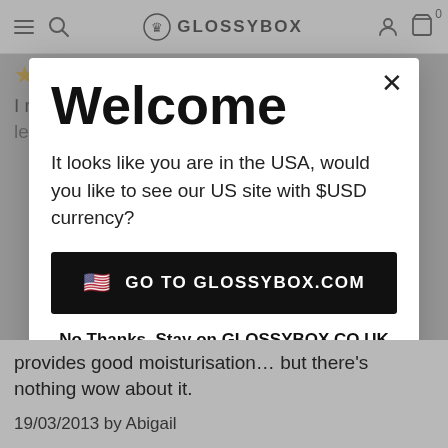GLOSSYBOX navigation bar with hamburger menu, search, logo, account, and cart (0)
★★★★☆
I really liked this lipbalm. It smells amazing & leaves your lips really moisturised
[Figure (screenshot): Welcome modal dialog overlaying a GLOSSYBOX product review page. Modal contains: title 'Welcome', body text 'It looks like you are in the USA, would you like to see our US site with $USD currency?', a black button 'GO TO GLOSSYBOX.COM' with US flag emoji, and a link 'No Thanks, Stay on GLOSSYBOX.CO.UK'. Background shows star rating and review text.]
provides good moisturisation… but there's nothing wow about it.

19/03/2013 by Abigail